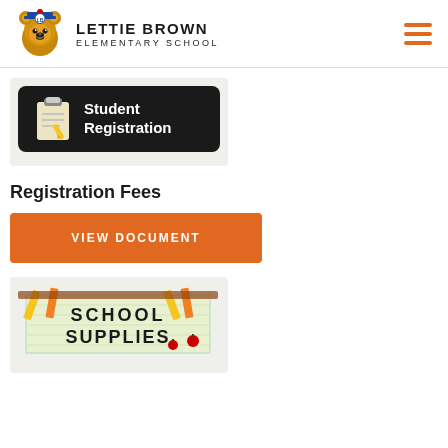LETTIE BROWN ELEMENTARY SCHOOL
[Figure (illustration): Student Registration banner button with clipboard icon on black rounded rectangle background]
Registration Fees
VIEW DOCUMENT
[Figure (illustration): School Supplies graphic with pencils and text spelling SCHOOL SUPPLIES on grid paper background]